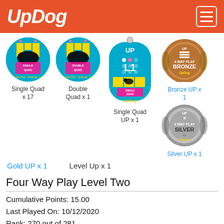UpDog
[Figure (illustration): Single Quad circular badge - 4 Way Play Challenge L1]
Single Quad x 17
[Figure (illustration): Double Quad circular badge - 4 Way Play Challenge L1]
Double Quad x 1
[Figure (illustration): Single Quad UP L1 dog-tag badge]
Single Quad UP x 1
[Figure (illustration): Bronze UP 4 Way Play medal]
Bronze UP x 1
[Figure (illustration): Silver UP 4 Way Play Level 1 medal]
Silver UP x 1
Gold UP x 1
Level Up x 1
Four Way Play Level Two
Cumulative Points: 15.00
Last Played On: 10/12/2020
Rank: 270 out of 281
Personal Best: 15.00